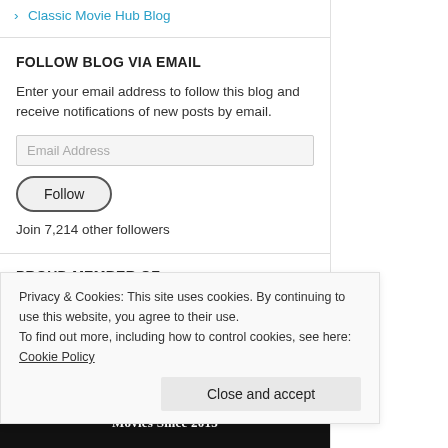Classic Movie Hub Blog
FOLLOW BLOG VIA EMAIL
Enter your email address to follow this blog and receive notifications of new posts by email.
Follow
Join 7,214 other followers
PROUD MEMBER OF…
[Figure (other): Dark banner image for a membership/badge]
Privacy & Cookies: This site uses cookies. By continuing to use this website, you agree to their use.
To find out more, including how to control cookies, see here: Cookie Policy
Close and accept
[Figure (other): Bottom dark strip with text overlay: Lovin Every Minute of It / Movies Since 2015]